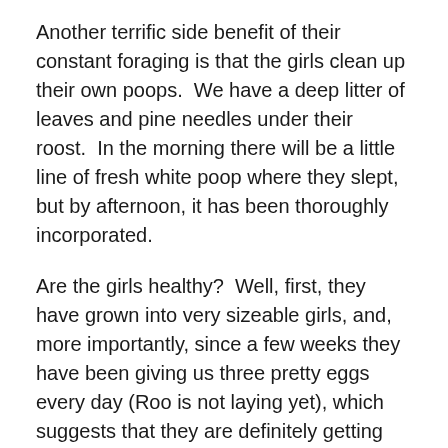Another terrific side benefit of their constant foraging is that the girls clean up their own poops.  We have a deep litter of leaves and pine needles under their roost.  In the morning there will be a little line of fresh white poop where they slept, but by afternoon, it has been thoroughly incorporated.
Are the girls healthy?  Well, first, they have grown into very sizeable girls, and, more importantly, since a few weeks they have been giving us three pretty eggs every day (Roo is not laying yet), which suggests that they are definitely getting enough to eat.
Now that we have been doing this for two months, it seems bizarre that we would ever feed chickens store-bought grains, just as it initially felt a little scary to wean them off it.  The compost system is easy, cheap,